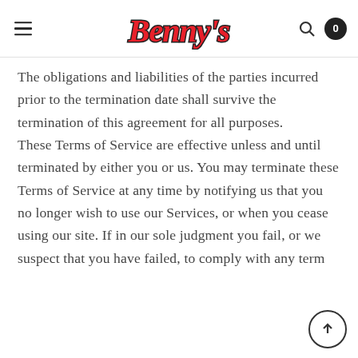Benny's
The obligations and liabilities of the parties incurred prior to the termination date shall survive the termination of this agreement for all purposes. These Terms of Service are effective unless and until terminated by either you or us. You may terminate these Terms of Service at any time by notifying us that you no longer wish to use our Services, or when you cease using our site. If in our sole judgment you fail, or we suspect that you have failed, to comply with any term